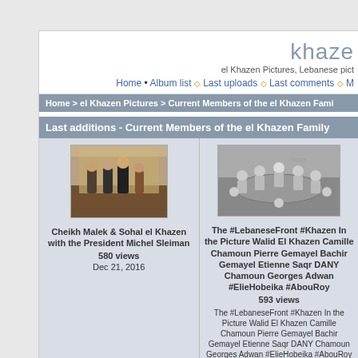khaze
el Khazen Pictures, Lebanese pict
Home • Album list ◇ Last uploads ◇ Last comments ◇ M
Home > el Khazen Pictures > Current Members of the el Khazen Fami
Last additions - Current Members of the el Khazen Family
[Figure (photo): Color photo of Cheikh Malek & Sohal el Khazen with President Michel Sleiman, group standing indoors]
Cheikh Malek & Sohal el Khazen with the President Michel Sleiman
580 views
Dec 21, 2016
[Figure (photo): Black and white photo of Lebanese Front meeting around a table, featuring Walid El Khazen, Camille Chamoun, Pierre Gemayel, Bachir Gemayel, Etienne Saqr, DANY Chamoun, Georges Adwan, #ElieHobeika, #AbouRoy]
The #LebaneseFront #Khazen In the Picture Walid El Khazen Camille Chamoun Pierre Gemayel Bachir Gemayel Etienne Saqr DANY Chamoun Georges Adwan #ElieHobeika #AbouRoy
593 views
The #LebaneseFront #Khazen In the Picture Walid El Khazen Camille Chamoun Pierre Gemayel Bachir Gemayel Etienne Saqr DANY Chamoun Georges Adwan #ElieHobeika #AbouRoy — with Walid El Khazen, Camile Chamoun, Bachir Gemaye